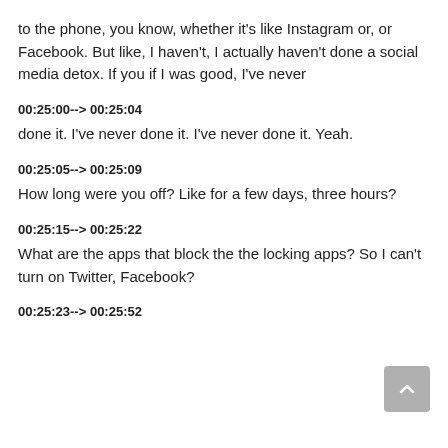to the phone, you know, whether it's like Instagram or, or Facebook. But like, I haven't, I actually haven't done a social media detox. If you if I was good, I've never
00:25:00--> 00:25:04
done it. I've never done it. I've never done it. Yeah.
00:25:05--> 00:25:09
How long were you off? Like for a few days, three hours?
00:25:15--> 00:25:22
What are the apps that block the the locking apps? So I can't turn on Twitter, Facebook?
00:25:23--> 00:25:52